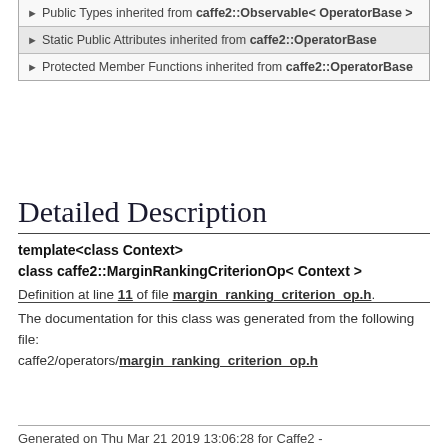Public Types inherited from caffe2::Observable< OperatorBase >
Static Public Attributes inherited from caffe2::OperatorBase
Protected Member Functions inherited from caffe2::OperatorBase
Detailed Description
template<class Context>
class caffe2::MarginRankingCriterionOp< Context >
Definition at line 11 of file margin_ranking_criterion_op.h.
The documentation for this class was generated from the following file: caffe2/operators/margin_ranking_criterion_op.h
Generated on Thu Mar 21 2019 13:06:28 for Caffe2 -